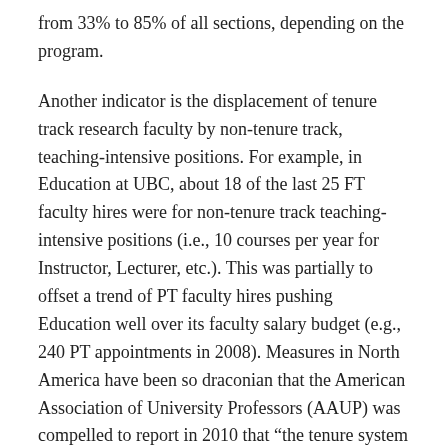from 33% to 85% of all sections, depending on the program.
Another indicator is the displacement of tenure track research faculty by non-tenure track, teaching-intensive positions. For example, in Education at UBC, about 18 of the last 25 FT faculty hires were for non-tenure track teaching-intensive positions (i.e., 10 courses per year for Instructor, Lecturer, etc.). This was partially to offset a trend of PT faculty hires pushing Education well over its faculty salary budget (e.g., 240 PT appointments in 2008). Measures in North America have been so draconian that the American Association of University Professors (AAUP) was compelled to report in 2010 that “the tenure system has all but collapsed…. the proportion of teaching-intensive to research-intensive appointments